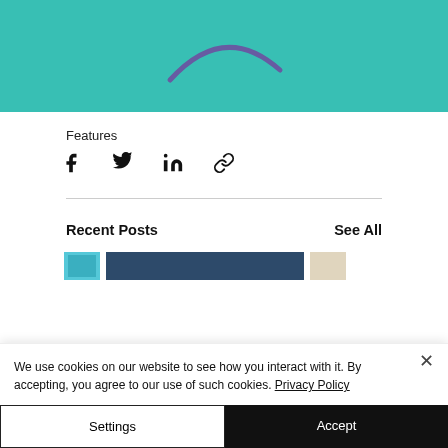[Figure (photo): Teal/turquoise textured background with a purple curved line or shape visible at the top center]
Features
[Figure (other): Social share icons: Facebook, Twitter, LinkedIn, and link/copy icons]
Recent Posts
See All
[Figure (photo): Three post thumbnail images: small blue image, wide dark navy image, small cream/beige image]
We use cookies on our website to see how you interact with it. By accepting, you agree to our use of such cookies. Privacy Policy
Settings
Accept